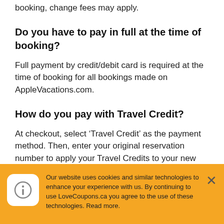booking, change fees may apply.
Do you have to pay in full at the time of booking?
Full payment by credit/debit card is required at the time of booking for all bookings made on AppleVacations.com.
How do you pay with Travel Credit?
At checkout, select ‘Travel Credit’ as the payment method. Then, enter your original reservation number to apply your Travel Credits to your new reservation.
What is the expiration date for Travel
Our website uses cookies and similar technologies to enhance your experience with us. By continuing to use LoveCoupons.ca you agree to the use of these technologies. Read more.